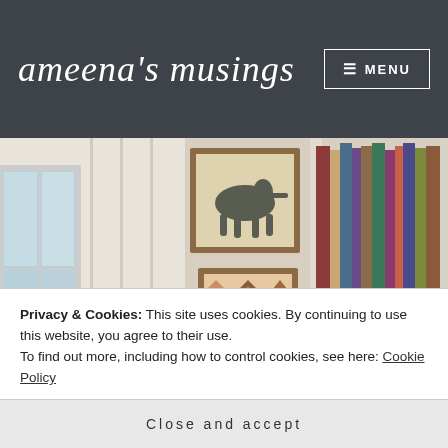ameena's musings
[Figure (photo): Interior photo of a home library with white built-in bookshelves filled with colorful books, artwork on the wall to the left, and a window letting in natural light.]
Privacy & Cookies: This site uses cookies. By continuing to use this website, you agree to their use.
To find out more, including how to control cookies, see here: Cookie Policy
Close and accept